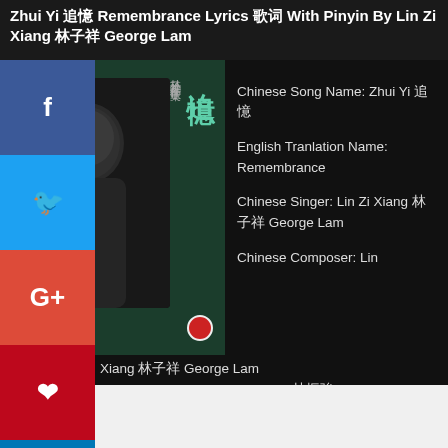Zhui Yi 追憶 Remembrance Lyrics 歌词 With Pinyin By Lin Zi Xiang 林子祥 George Lam
[Figure (photo): Album cover for Lin Zi Xiang (George Lam) featuring a dark portrait photo with Chinese text 迫憶 and 林子祥創作歌集, teal/dark green background, OFFICIAL AUDIO label]
Chinese Song Name: Zhui Yi 追憶
English Tranlation Name: Remembrance
Chinese Singer: Lin Zi Xiang 林子祥 George Lam
Chinese Composer: Lin Xiang 林子祥 George Lam
Chinese Lyrics: Lin Zhen Qiang 林振強